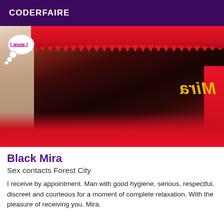CODERFAIRE
[Figure (photo): Close-up photo of a person wearing red lace underwear, with a mirrored watermark text 'Mira' in yellow, and a 'Love' thought bubble graphic in the top left corner.]
Black Mira
Sex contacts Forest City
I receive by appointment. Man with good hygiene, serious, respectful, discreet and courteous for a moment of complete relaxation. With the pleasure of receiving you. Mira.